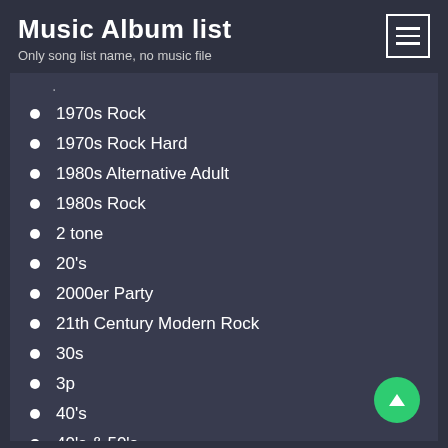Music Album list
Only song list name, no music file
1970s Rock
1970s Rock Hard
1980s Alternative Adult
1980s Rock
2 tone
20's
2000er Party
21th Century Modern Rock
30s
3p
40's
40's & 50's
429 Records
4AD
50's
50's & 60's Oldies